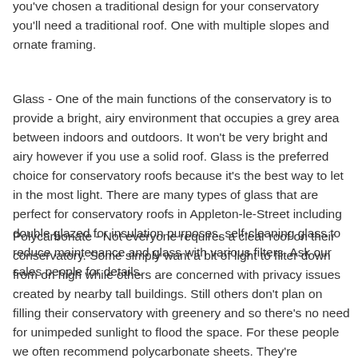you've chosen a traditional design for your conservatory you'll need a traditional roof. One with multiple slopes and ornate framing.
Glass - One of the main functions of the conservatory is to provide a bright, airy environment that occupies a grey area between indoors and outdoors. It won't be very bright and airy however if you use a solid roof. Glass is the preferred choice for conservatory roofs because it's the best way to let in the most light. There are many types of glass that are perfect for conservatory roofs in Appleton-le-Street including double glazed for insulation purposes, self-cleaning glass to reduce maintenance and glass with various filters. Ask our sales people for details.
Polycarbonate - Not everyone requires a clear roof on their conservatory. Some simply want a bit of light to filter down from on high while others are concerned with privacy issues created by nearby tall buildings. Still others don't plan on filling their conservatory with greenery and so there's no need for unimpeded sunlight to flood the space. For these people we often recommend polycarbonate sheets. They're affordable and can provide excellent insulation. If there's a downside it's that polycarbonate tends to